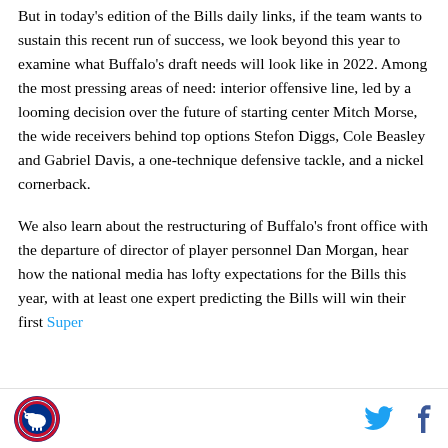But in today's edition of the Bills daily links, if the team wants to sustain this recent run of success, we look beyond this year to examine what Buffalo's draft needs will look like in 2022. Among the most pressing areas of need: interior offensive line, led by a looming decision over the future of starting center Mitch Morse, the wide receivers behind top options Stefon Diggs, Cole Beasley and Gabriel Davis, a one-technique defensive tackle, and a nickel cornerback.
We also learn about the restructuring of Buffalo's front office with the departure of director of player personnel Dan Morgan, hear how the national media has lofty expectations for the Bills this year, with at least one expert predicting the Bills will win their first Super
Bills logo | Twitter icon | Facebook icon